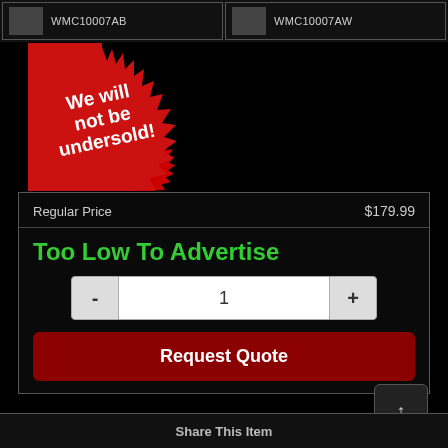[Figure (screenshot): Two product thumbnail items at the top: WMC10007AB and WMC10007AW]
[Figure (illustration): Red starburst badge with white text reading 'We will not be undersold!']
Regular Price   $179.99
Too Low To Advertise
- 1 +
Request Quote
Share This Item